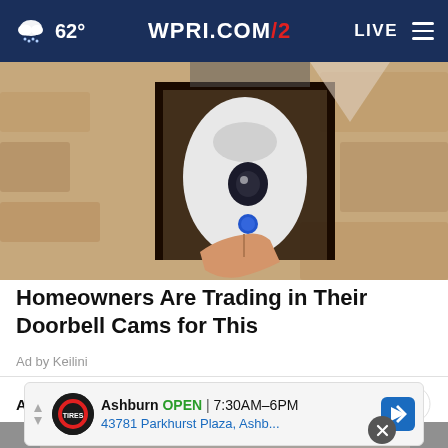WPRI.COM/2  62°  LIVE
[Figure (photo): Close-up photo of a security camera being installed in a decorative outdoor lantern fixture, hand visible pressing a button]
Homeowners Are Trading in Their Doorbell Cams for This
Ad by Keilini
AROUND THE WEB
[Figure (photo): Partial blurred photo of a person visible at bottom of page]
[Figure (infographic): Ad banner: Ashburn OPEN 7:30AM-6PM 43781 Parkhurst Plaza, Ashb... with Tires Plus logo and navigation arrow]